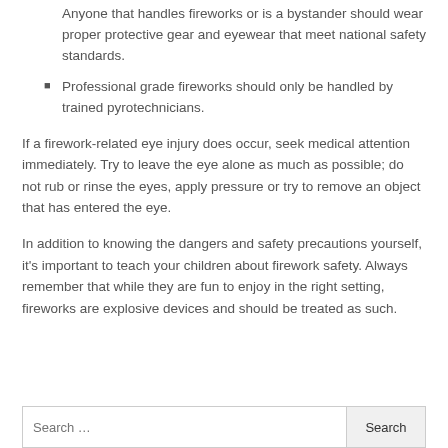Anyone that handles fireworks or is a bystander should wear proper protective gear and eyewear that meet national safety standards.
Professional grade fireworks should only be handled by trained pyrotechnicians.
If a firework-related eye injury does occur, seek medical attention immediately. Try to leave the eye alone as much as possible; do not rub or rinse the eyes, apply pressure or try to remove an object that has entered the eye.
In addition to knowing the dangers and safety precautions yourself, it's important to teach your children about firework safety. Always remember that while they are fun to enjoy in the right setting, fireworks are explosive devices and should be treated as such.